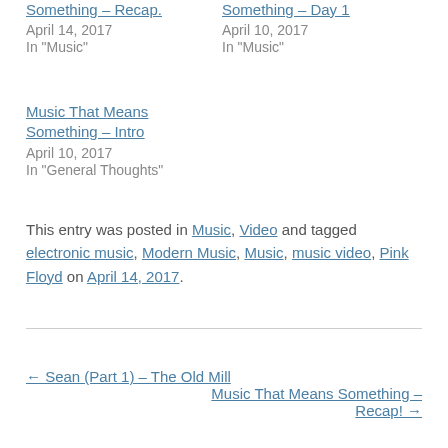Something – Recap. April 14, 2017 In "Music"
Something – Day 1 April 10, 2017 In "Music"
Music That Means Something – Intro April 10, 2017 In "General Thoughts"
This entry was posted in Music, Video and tagged electronic music, Modern Music, Music, music video, Pink Floyd on April 14, 2017.
← Sean (Part 1) – The Old Mill
Music That Means Something – Recap! →